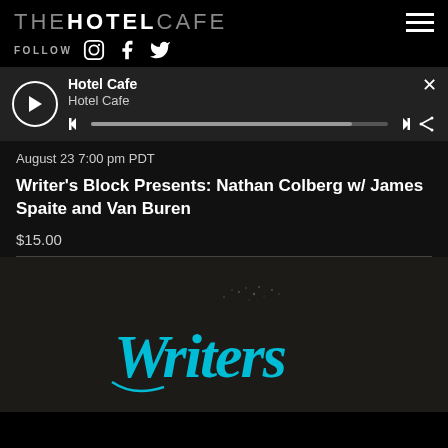THE HOTEL CAFE
FOLLOW
Hotel Cafe
Hotel Cafe
August 23 7:00 pm PDT
Writer's Block Presents: Nathan Colberg w/ James Spaite and Van Buren
$15.00
[Figure (illustration): Writer's Block cursive logo in cyan/teal on dark background]